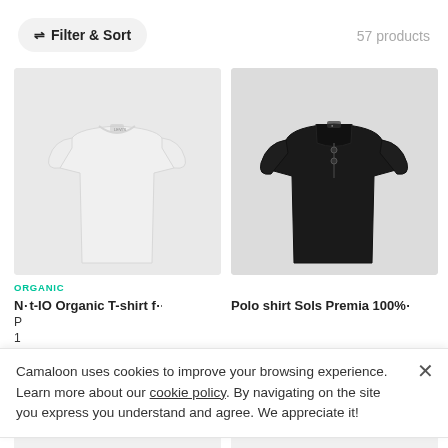⇌ Filter & Sort
57 products
[Figure (photo): White crew-neck t-shirt on light grey background]
[Figure (photo): Black polo shirt on light grey background]
ORGANIC
N...t-IO Organic T-shirt f...
Polo shirt Sols Premia 100%...
P
1
Camaloon uses cookies to improve your browsing experience. Learn more about our cookie policy. By navigating on the site you express you understand and agree. We appreciate it!
[Figure (photo): Partial product card at bottom left]
[Figure (photo): Partial product card at bottom right]